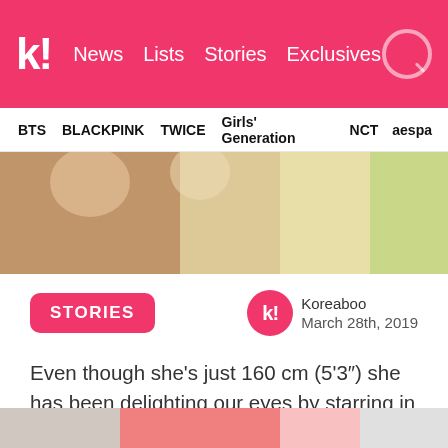k! News Lists Stories Exclusives
BTS BLACKPINK TWICE Girls' Generation NCT aespa
[Figure (photo): Hero image showing a person in a fashion editorial shoot with warm tones]
STORIES
Koreaboo
March 28th, 2019
Even though she's just 160 cm (5'3") she has been delighting our eyes by starring in editorial shoots for years. Here we have compiled some of these unique pictorials that have captured our attention.
1. Beauty+ (April 2019)
[Figure (photo): Bottom partial image of a photo shoot]